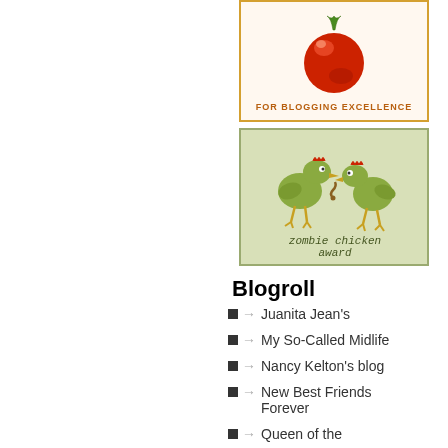[Figure (illustration): Blogging excellence award badge with a tomato and orange border, text 'For Blogging Excellence']
[Figure (illustration): Zombie Chicken Award badge with two cartoon chickens on light green background]
Blogroll
Juanita Jean's
My So-Called Midlife
Nancy Kelton's blog
New Best Friends Forever
Queen of the